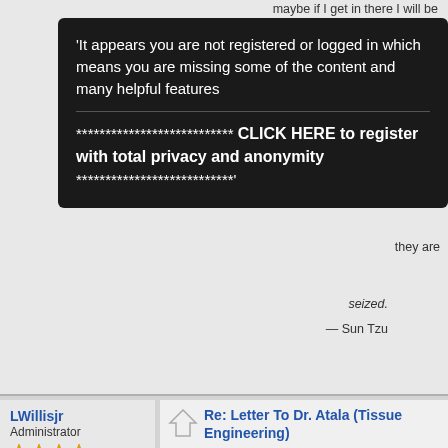[Figure (screenshot): Forum page screenshot showing a tooltip overlay with registration prompt, partially obscuring background forum post content about 'Letter To Dr. Atala (Tissue Engineering)'. Below is a forum post from user LWillisjr (Administrator, 4 stars, Country: US, Offline, Gender: male, Posts: 3063, 65 y/o - 13 yrs Peyronies free) with reply text 'Please contact JackP on the forum. If achieving a firm erection is a problem, have you investigated the possibility of an implant?' and a signature starting 'Developed peyronies 2007 - 70'.]